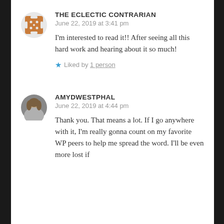[Figure (illustration): Avatar icon for The Eclectic Contrarian - brown/orange puzzle-like icon]
THE ECLECTIC CONTRARIAN
June 22, 2019 at 3:41 pm
I'm interested to read it!! After seeing all this hard work and hearing about it so much!
Liked by 1 person
[Figure (photo): Avatar photo for AmyDWestphal - woman with gray/brown hair]
AMYDWESTPHAL
June 22, 2019 at 4:44 pm
Thank you. That means a lot. If I go anywhere with it, I'm really gonna count on my favorite WP peers to help me spread the word. I'll be even more lost if